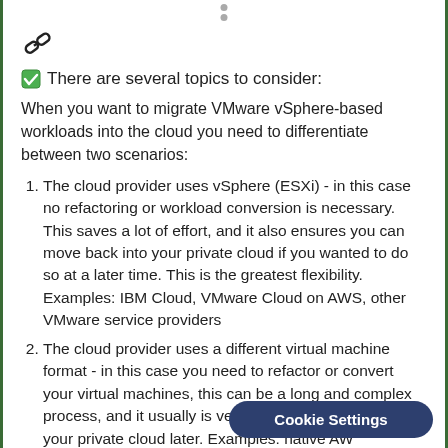[Figure (illustration): Chain link icon (hyperlink symbol)]
✅ There are several topics to consider:
When you want to migrate VMware vSphere-based workloads into the cloud you need to differentiate between two scenarios:
The cloud provider uses vSphere (ESXi) - in this case no refactoring or workload conversion is necessary. This saves a lot of effort, and it also ensures you can move back into your private cloud if you wanted to do so at a later time. This is the greatest flexibility. Examples: IBM Cloud, VMware Cloud on AWS, other VMware service providers
The cloud provider uses a different virtual machine format - in this case you need to refactor or convert your virtual machines, this can be a long and complex process, and it usually is very hard to move back to your private cloud later. Examples: native AW...
Cookie Settings